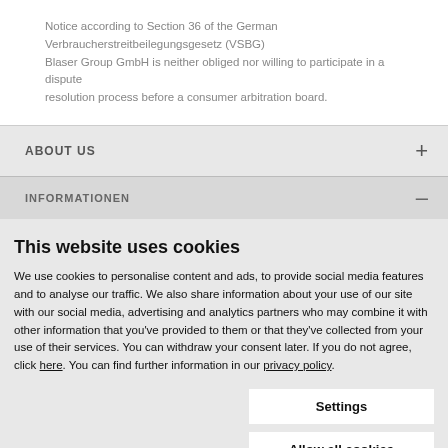Notice according to Section 36 of the German Verbraucherstreitbeilegungsgesetz (VSBG) Blaser Group GmbH is neither obliged nor willing to participate in a dispute resolution process before a consumer arbitration board.
ABOUT US
INFORMATIONEN
This website uses cookies
We use cookies to personalise content and ads, to provide social media features and to analyse our traffic. We also share information about your use of our site with our social media, advertising and analytics partners who may combine it with other information that you've provided to them or that they've collected from your use of their services. You can withdraw your consent later. If you do not agree, click here. You can find further information in our privacy policy.
Settings
Allow all cookies